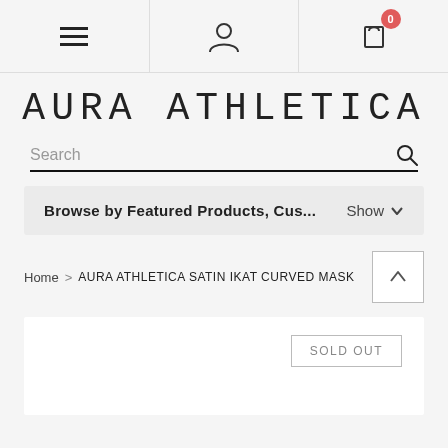[Figure (screenshot): Navigation bar with hamburger menu, user account icon, and shopping cart icon with badge showing 0]
AURA ATHLETICA
Search
Browse by Featured Products, Cus...  Show
Home > AURA ATHLETICA SATIN IKAT CURVED MASK
SOLD OUT